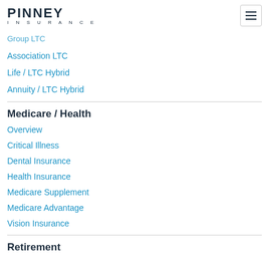[Figure (logo): Pinney Insurance logo with bold PINNEY text and INSURANCE in spaced letters below]
Group LTC
Association LTC
Life / LTC Hybrid
Annuity / LTC Hybrid
Medicare / Health
Overview
Critical Illness
Dental Insurance
Health Insurance
Medicare Supplement
Medicare Advantage
Vision Insurance
Retirement